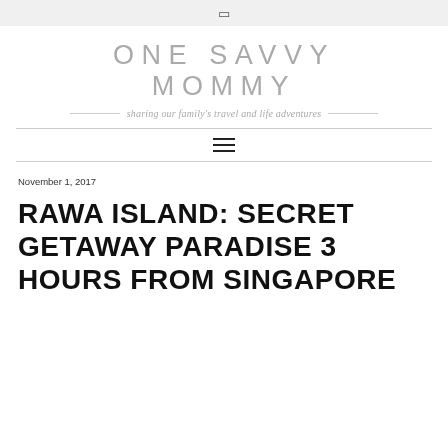☰
ONE SAVVY MOMMY
sharing our family's travel and life adventures
November 1, 2017
RAWA ISLAND: SECRET GETAWAY PARADISE 3 HOURS FROM SINGAPORE